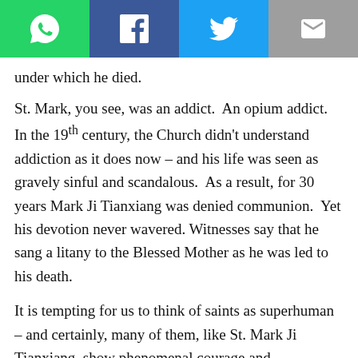[Figure (other): Social sharing toolbar with WhatsApp, Facebook, Twitter, Email, and general share buttons]
under which he died.
St. Mark, you see, was an addict. An opium addict. In the 19th century, the Church didn’t understand addiction as it does now – and his life was seen as gravely sinful and scandalous. As a result, for 30 years Mark Ji Tianxiang was denied communion. Yet his devotion never wavered. Witnesses say that he sang a litany to the Blessed Mother as he was led to his death.
It is tempting for us to think of saints as superhuman – and certainly, many of them, like St. Mark Ji Tianxiang, show phenomenal courage and commitment to the faith. But his story also reminds us: whether or not a saint is superhuman, he or she is also human.